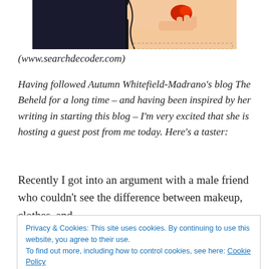[Figure (illustration): Top portion of a comic-style illustration showing a woman in pop-art style holding something red, cropped at the top of the page]
(www.searchdecoder.com)
Having followed Autumn Whitefield-Madrano’s blog The Beheld for a long time – and having been inspired by her writing in starting this blog – I’m very excited that she is hosting a guest post from me today. Here’s a taster:
Recently I got into an argument with a male friend who couldn’t see the difference between makeup, clothes, and
Privacy & Cookies: This site uses cookies. By continuing to use this website, you agree to their use.
To find out more, including how to control cookies, see here: Cookie Policy
easy to see that it’s there. Clothes can alter your shape